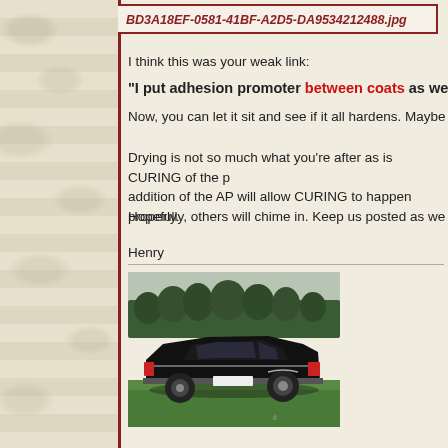BD3A18EF-0581-41BF-A2D5-DA9534212488.jpg
I think this was your weak link:
"I put adhesion promoter between coats as well."
Now, you can let it sit and see if it all hardens. Maybe after a c
Drying is not so much what you're after as is CURING of the p addition of the AP will allow CURING to happen properly.
Hopefully, others will chime in. Keep us posted as we all wish
Henry
[Figure (photo): Black classic car (rear three-quarter view) parked on green grass with trees in background]